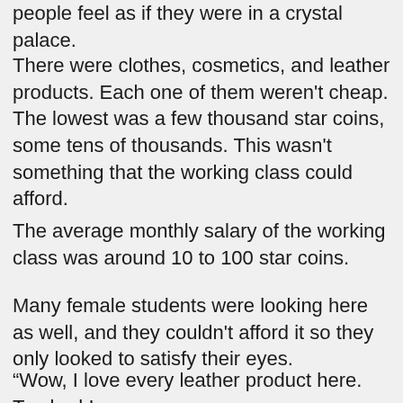people feel as if they were in a crystal palace.
There were clothes, cosmetics, and leather products. Each one of them weren't cheap. The lowest was a few thousand star coins, some tens of thousands. This wasn't something that the working class could afford.
The average monthly salary of the working class was around 10 to 100 star coins.
Many female students were looking here as well, and they couldn't afford it so they only looked to satisfy their eyes.
“Wow, I love every leather product here. Too bad I